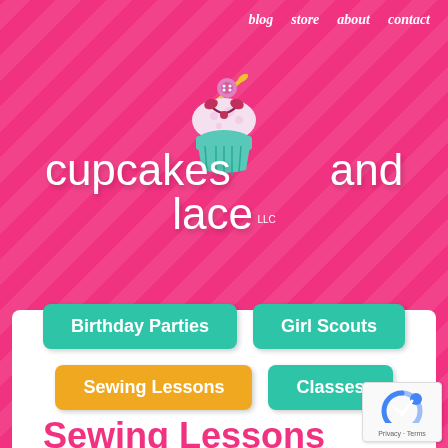blog  store  about  contact
[Figure (logo): Cupcakes and Lace LLC logo with illustrated cupcake featuring sewing needle, button, and bow ribbon decorations]
Birthday Parties
Girl Scouts
Sewing Lessons
Classes
Sewing Lessons